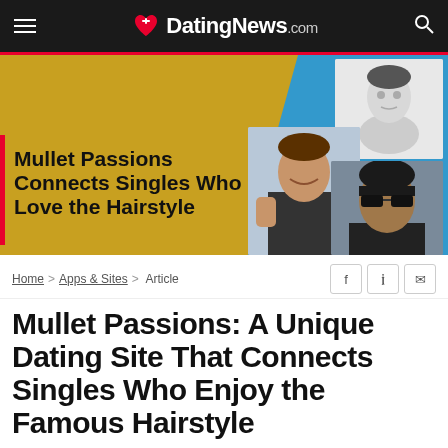DatingNews.com
[Figure (illustration): Banner image for Mullet Passions article showing three people with mullet hairstyles against gold and blue background]
Mullet Passions Connects Singles Who Love the Hairstyle
Home > Apps & Sites > Article
Mullet Passions: A Unique Dating Site That Connects Singles Who Enjoy the Famous Hairstyle